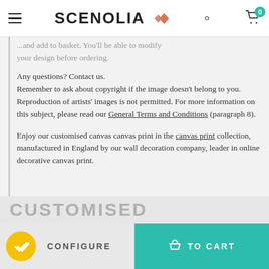SCENOLIA
...and add to basket. You'll be able to modify your design before ordering.
Any questions? Contact us.
Remember to ask about copyright if the image doesn't belong to you. Reproduction of artists' images is not permitted. For more information on this subject, please read our General Terms and Conditions (paragraph 8).

Enjoy our customised canvas canvas print in the canvas print collection, manufactured in England by our wall decoration company, leader in online decorative canvas print.
CUSTOMISED
CONFIGURE
TO CART